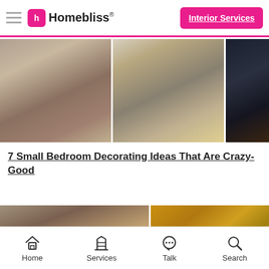Homebliss — Interior Services
[Figure (photo): Three bedroom photos side by side: grey bedding on left, modern bedroom with yellow accents in center, dark moody bedroom with blue pillows on right]
7 Small Bedroom Decorating Ideas That Are Crazy-Good
[Figure (photo): Large bedroom with grey duvet and wooden floor on left; two diamond-shaped pendant lights on gold/amber wall top right; geometric lamp detail bottom right]
Home   Services   Talk   Search